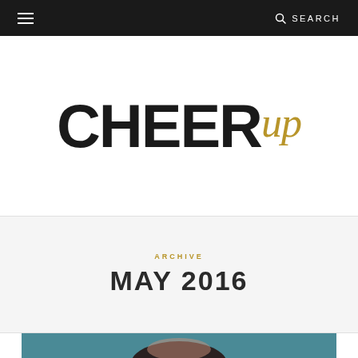≡  🔍 SEARCH
CHEER up
ARCHIVE
MAY 2016
[Figure (photo): Partial photo at bottom of page showing top of a person's head and teal/blue background]